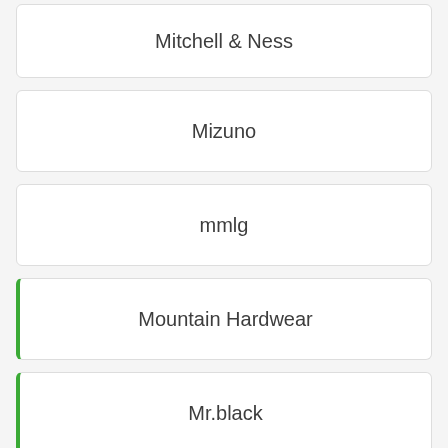Mitchell & Ness
Mizuno
mmlg
Mountain Hardwear
Mr.black
📞 +60 3-2181 7618   🌐 Website